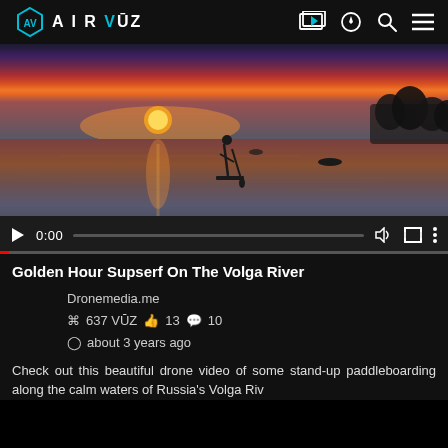AirVūz navigation bar with logo and icons
[Figure (screenshot): Video player showing a drone footage thumbnail of a person stand-up paddleboarding on the Volga River at golden hour/sunset. The sky is orange and purple. Controls show play button, time 0:00, volume, fullscreen, and more options icons. A red/grey progress bar is at the bottom.]
Golden Hour Supserf On The Volga River
Dronemedia.me
⌘ 637 VŪZ 👍 13 💬 10
🕐 about 3 years ago
Check out this beautiful drone video of some stand-up paddleboarding along the calm waters of Russia's Volga River